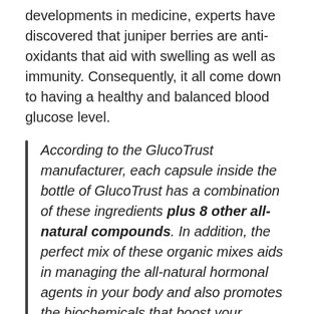developments in medicine, experts have discovered that juniper berries are anti-oxidants that aid with swelling as well as immunity. Consequently, it all come down to having a healthy and balanced blood glucose level.
According to the GlucoTrust manufacturer, each capsule inside the bottle of GlucoTrust has a combination of these ingredients plus 8 other all-natural compounds. In addition, the perfect mix of these organic mixes aids in managing the all-natural hormonal agents in your body and also promotes the biochemicals that boost your general wellness.
Zinc